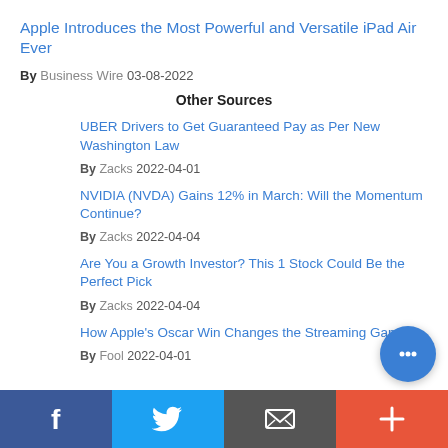Apple Introduces the Most Powerful and Versatile iPad Air Ever
By Business Wire 03-08-2022
Other Sources
UBER Drivers to Get Guaranteed Pay as Per New Washington Law
By Zacks 2022-04-01
NVIDIA (NVDA) Gains 12% in March: Will the Momentum Continue?
By Zacks 2022-04-04
Are You a Growth Investor? This 1 Stock Could Be the Perfect Pick
By Zacks 2022-04-04
How Apple's Oscar Win Changes the Streaming Game
By Fool 2022-04-01